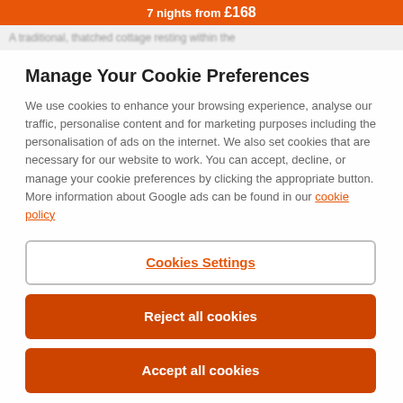[Figure (screenshot): Top orange bar showing partial text '7 nights from £168' button]
A traditional, thatched cottage resting within the
Manage Your Cookie Preferences
We use cookies to enhance your browsing experience, analyse our traffic, personalise content and for marketing purposes including the personalisation of ads on the internet. We also set cookies that are necessary for our website to work. You can accept, decline, or manage your cookie preferences by clicking the appropriate button. More information about Google ads can be found in our cookie policy
Cookies Settings
Reject all cookies
Accept all cookies